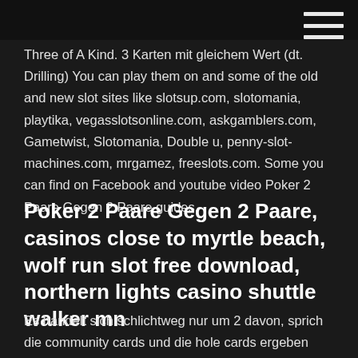☰ (hamburger menu icon)
Three of A Kind. 3 Karten mit gleichem Wert (dt. Drilling) You can play them on and some of the old and new slot sites like slotsup.com, slotomania, playtika, vegasslotsonline.com, askgamblers.com, Gametwist, Slotomania, Double u, penny-slot-machines.com, mrgamez, freeslots.com. Some you can find on Facebook and youtube video Poker 2 Paare Gegen 2 Paare guides.
Poker 2 Paare Gegen 2 Paare, casinos close to myrtle beach, wolf run slot free download, northern lights casino shuttle walker mn
Es handelt sich schlichtweg nur um 2 davon, sprich die community cards und die hole cards ergeben zum Beispiel zwei Mal die 8 und zwei Asse. Eine Fehleinschätzung ist so